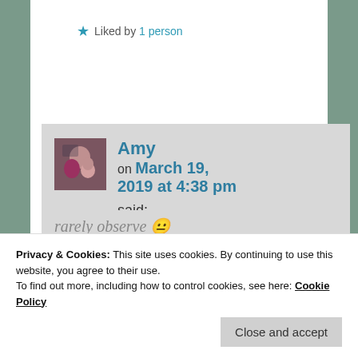★ Liked by 1 person
Reply ↓
Amy on March 19, 2019 at 4:38 pm said:
rarely observe 😐
Privacy & Cookies: This site uses cookies. By continuing to use this website, you agree to their use.
To find out more, including how to control cookies, see here: Cookie Policy
Close and accept